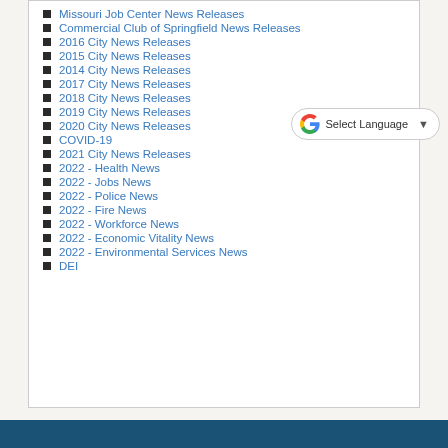Missouri Job Center News Releases
Commercial Club of Springfield News Releases
2016 City News Releases
2015 City News Releases
2014 City News Releases
2017 City News Releases
2018 City News Releases
2019 City News Releases
2020 City News Releases
COVID-19
2021 City News Releases
2022 - Health News
2022 - Jobs News
2022 - Police News
2022 - Fire News
2022 - Workforce News
2022 - Economic Vitality News
2022 - Environmental Services News
DEI
[Figure (screenshot): Google Translate 'Select Language' widget with Google G logo and dropdown arrow]